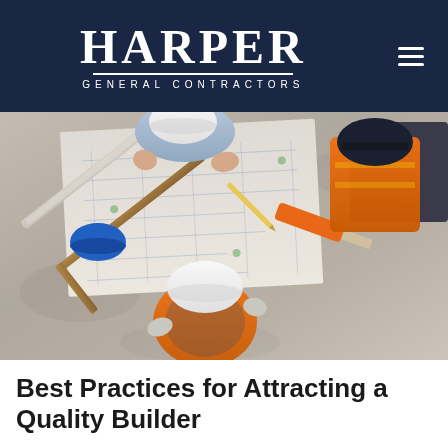HARPER GENERAL CONTRACTORS
[Figure (photo): Overhead aerial view of two construction workers in hard hats and safety vests looking at blueprints on a concrete floor, with construction tools including a level, saw, and framing square visible on the plans.]
Best Practices for Attracting a Quality Builder